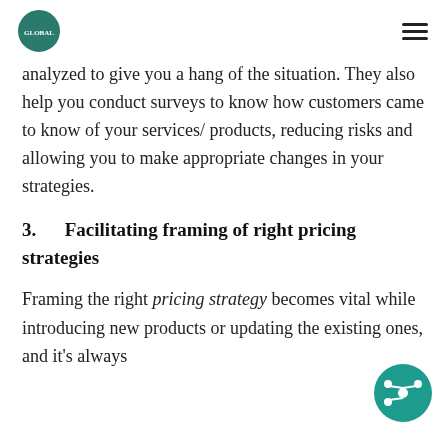Global Strategy — logo and navigation
analyzed to give you a hang of the situation. They also help you conduct surveys to know how customers came to know of your services/ products, reducing risks and allowing you to make appropriate changes in your strategies.
3.     Facilitating framing of right pricing strategies
Framing the right pricing strategy becomes vital while introducing new products or updating the existing ones, and it's always